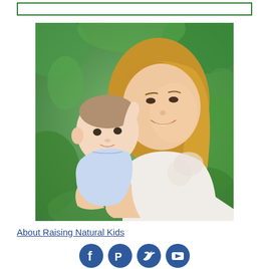[Figure (photo): A smiling blonde woman holding a baby dressed in light blue, set against a green leafy background. An outdoor portrait photo.]
About Raising Natural Kids
[Figure (infographic): Social media icons: Facebook, Pinterest, Twitter, YouTube — all dark blue circular icons]